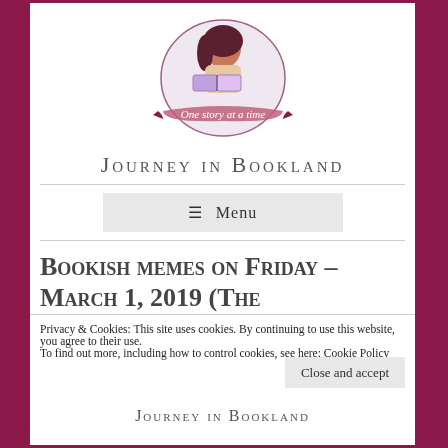[Figure (logo): Journey in Bookland blog logo: illustrated girl reading with a banner reading 'One story at a time']
Journey in Bookland
≡ Menu
Bookish memes on Friday – March 1, 2019 (The
Privacy & Cookies: This site uses cookies. By continuing to use this website, you agree to their use.
To find out more, including how to control cookies, see here: Cookie Policy
Close and accept
Journey in Bookland